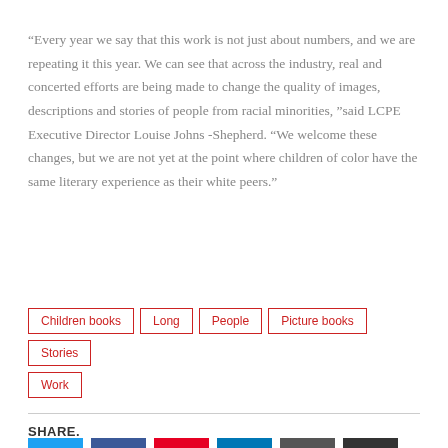“Every year we say that this work is not just about numbers, and we are repeating it this year. We can see that across the industry, real and concerted efforts are being made to change the quality of images, descriptions and stories of people from racial minorities, ”said LCPE Executive Director Louise Johns -Shepherd. “We welcome these changes, but we are not yet at the point where children of color have the same literary experience as their white peers."
Children books
Long
People
Picture books
Stories
Work
SHARE.